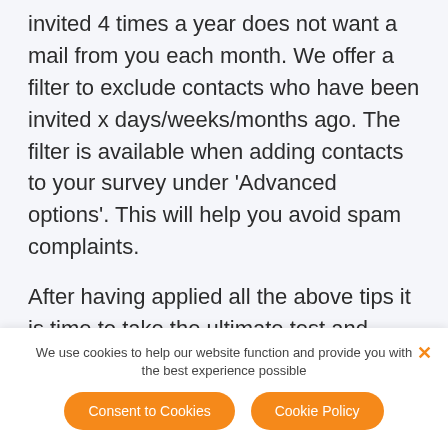invited 4 times a year does not want a mail from you each month. We offer a filter to exclude contacts who have been invited x days/weeks/months ago. The filter is available when adding contacts to your survey under ‘Advanced options’. This will help you avoid spam complaints.
After having applied all the above tips it is time to take the ultimate test and send some trial email invitations to a test panel.
We use cookies to help our website function and provide you with the best experience possible
Consent to Cookies
Cookie Policy